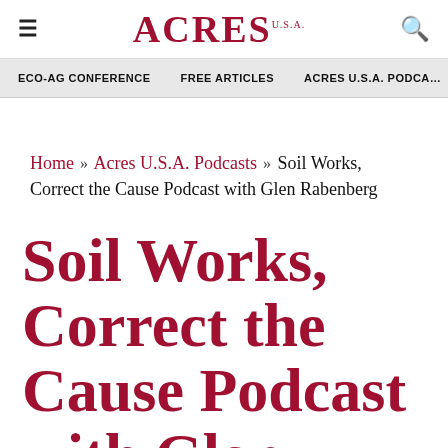≡  ACRES U.S.A.  🔍
ECO-AG CONFERENCE   FREE ARTICLES   ACRES U.S.A. PODCASTS
Home » Acres U.S.A. Podcasts » Soil Works, Correct the Cause Podcast with Glen Rabenberg
Soil Works, Correct the Cause Podcast with Glen Rabenberg